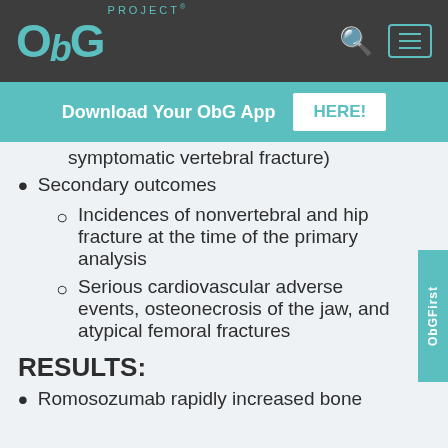ObG PROJECT®
Download Your ObG App HERE!
symptomatic vertebral fracture)
Secondary outcomes
Incidences of nonvertebral and hip fracture at the time of the primary analysis
Serious cardiovascular adverse events, osteonecrosis of the jaw, and atypical femoral fractures
RESULTS:
Romosozumab rapidly increased bone